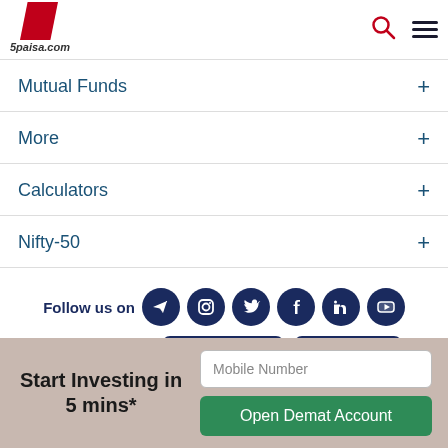[Figure (logo): 5paisa.com logo with red geometric shape]
Mutual Funds +
More +
Calculators +
Nifty-50 +
Follow us on [Telegram, Instagram, Twitter, Facebook, LinkedIn, YouTube icons]
Download now [Google Play] [App Store]
Start Investing in 5 mins*
Mobile Number
Open Demat Account